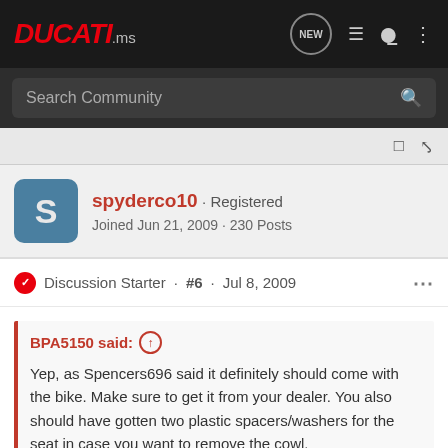DUCATI.ms
Search Community
spyderco10 · Registered
Joined Jun 21, 2009 · 230 Posts
Discussion Starter · #6 · Jul 8, 2009
BPA5150 said: ↑
Yep, as Spencers696 said it definitely should come with the bike. Make sure to get it from your dealer. You also should have gotten two plastic spacers/washers for the seat in case you want to remove the cowl.
I didn't k
[Figure (photo): Suzuki GSX-S1000GT advertisement banner showing motorcycle and GT branding]